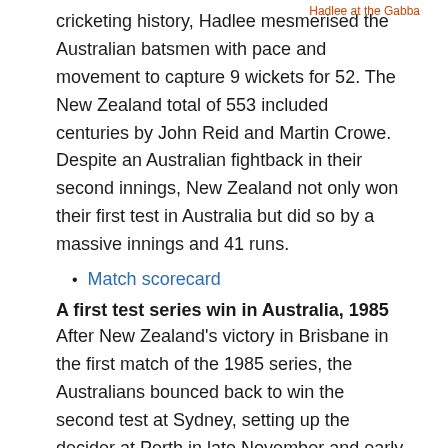cricketing history, Hadlee mesmerised the Australian batsmen with pace and movement to capture 9 wickets for 52. The New Zealand total of 553 included centuries by John Reid and Martin Crowe. Despite an Australian fightback in their second innings, New Zealand not only won their first test in Australia but did so by a massive innings and 41 runs.
Hadlee at the Gabba
Match scorecard
A first test series win in Australia, 1985
After New Zealand's victory in Brisbane in the first match of the 1985 series, the Australians bounced back to win the second test at Sydney, setting up the decider at Perth in late November and early December. Eleven wickets for Richard Hadlee and fine half-centuries by Bruce Edgar and Martin Crowe saw the New Zealanders clinch the series 2–1.
Match scoreboard
Winning a test series against Australia for the first time in New